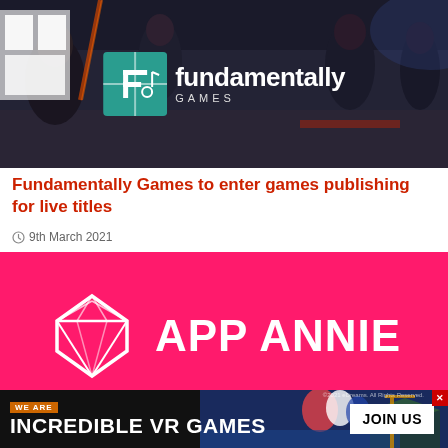[Figure (photo): Office scene with people working, overlaid with Fundamentally Games logo (teal/green grid icon with stylized F letter, and white text 'fundamentally GAMES')]
Fundamentally Games to enter games publishing for live titles
9th March 2021
[Figure (logo): App Annie logo on hot pink/magenta background — white diamond gem outline icon on left, white bold italic 'APP ANNIE' text on right]
[Figure (photo): Bottom banner advertisement: dark background with game scene imagery, orange 'WE ARE' tag, bold white text 'INCREDIBLE VR GAMES', white 'JOIN US' button on right, red X close button top right, small copyright text]